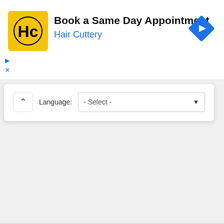[Figure (screenshot): Hair Cuttery advertisement banner with yellow HC logo, title 'Book a Same Day Appointment', subtitle 'Hair Cuttery' in blue, and a blue navigation diamond icon on the right. Small play and close controls at bottom left.]
Book a Same Day Appointment
Hair Cuttery
[Figure (screenshot): A web widget panel with a collapse chevron button, a 'Language:' label, and a '- Select -' dropdown with a down arrow.]
Language:
- Select -